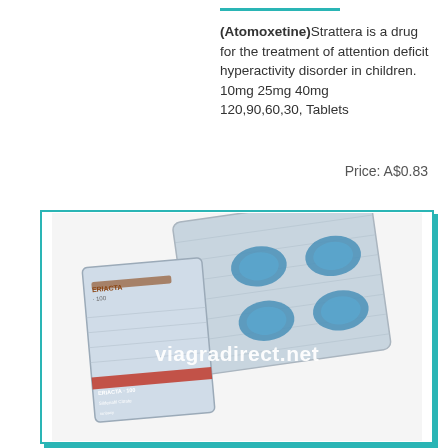(Atomoxetine)Strattera is a drug for the treatment of attention deficit hyperactivity disorder in children.
10mg 25mg 40mg
120,90,60,30, Tablets
Price: A$0.83
[Figure (photo): Photo of Eriacta-100 blister pack with blue tablets, watermarked with viagradirect.net, shown inside a teal-bordered box]